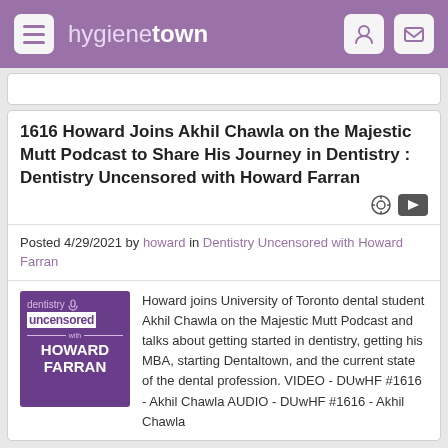hygienetown
1616 Howard Joins Akhil Chawla on the Majestic Mutt Podcast to Share His Journey in Dentistry : Dentistry Uncensored with Howard Farran
Posted 4/29/2021 by howard in Dentistry Uncensored with Howard Farran
[Figure (logo): Dentistry Uncensored with Howard Farran podcast logo — purple background with white text]
Howard joins University of Toronto dental student Akhil Chawla on the Majestic Mutt Podcast and talks about getting started in dentistry, getting his MBA, starting Dentaltown, and the current state of the dental profession. VIDEO - DUwHF #1616 - Akhil Chawla AUDIO - DUwHF #1616 - Akhil Chawla